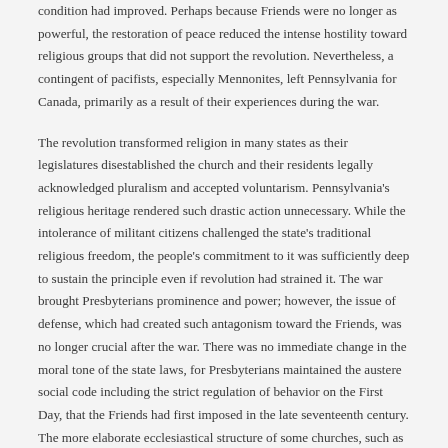condition had improved. Perhaps because Friends were no longer as powerful, the restoration of peace reduced the intense hostility toward religious groups that did not support the revolution. Nevertheless, a contingent of pacifists, especially Mennonites, left Pennsylvania for Canada, primarily as a result of their experiences during the war.
The revolution transformed religion in many states as their legislatures disestablished the church and their residents legally acknowledged pluralism and accepted voluntarism. Pennsylvania's religious heritage rendered such drastic action unnecessary. While the intolerance of militant citizens challenged the state's traditional religious freedom, the people's commitment to it was sufficiently deep to sustain the principle even if revolution had strained it. The war brought Presbyterians prominence and power; however, the issue of defense, which had created such antagonism toward the Friends, was no longer crucial after the war. There was no immediate change in the moral tone of the state laws, for Presbyterians maintained the austere social code including the strict regulation of behavior on the First Day, that the Friends had first imposed in the late seventeenth century. The more elaborate ecclesiastical structure of some churches, such as the Roman Catholic, and the ecclesiastical independence of the Reformed and Anglican churches from European